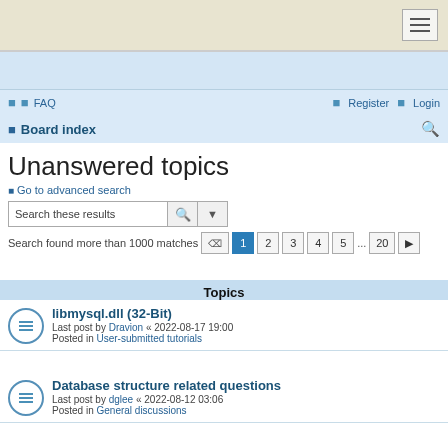≡ (hamburger menu)
☐ ☐ FAQ    ☐ Register  ☐ Login
☐ Board index  🔍
Unanswered topics
Go to advanced search
Search these results
Search found more than 1000 matches  1 2 3 4 5 ... 20 ▶
Topics
libmysql.dll (32-Bit)
Last post by Dravion « 2022-08-17 19:00
Posted in User-submitted tutorials
Database structure related questions
Last post by dglee « 2022-08-12 03:06
Posted in General discussions